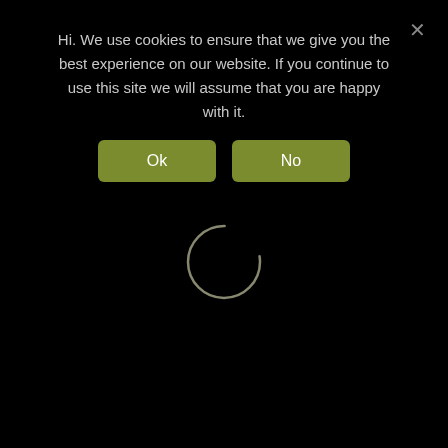Hi. We use cookies to ensure that we give you the best experience on our website. If you continue to use this site we will assume that you are happy with it.
[Figure (screenshot): Cookie consent dialog with Ok and No buttons on a black background, and a loading spinner circle in the center-lower area of the page]